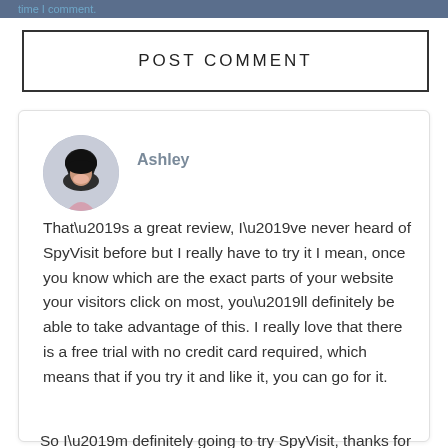time I comment.
POST COMMENT
Ashley
That’s a great review, I’ve never heard of SpyVisit before but I really have to try it I mean, once you know which are the exact parts of your website your visitors click on most, you’ll definitely be able to take advantage of this. I really love that there is a free trial with no credit card required, which means that if you try it and like it, you can go for it.
So I’m definitely going to try SpyVisit, thanks for